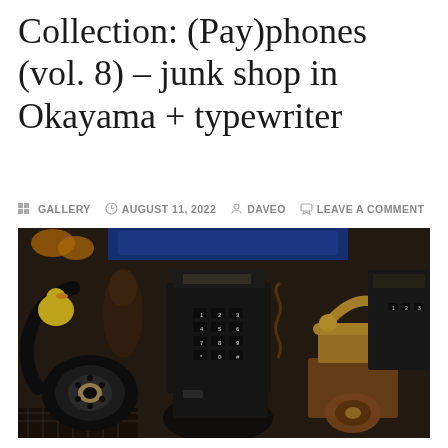Collection: (Pay)phones (vol. 8) – junk shop in Okayama + typewriter
GALLERY   AUGUST 11, 2022   DAVEO   LEAVE A COMMENT
[Figure (photo): A collection of vintage and antique telephones displayed in a junk shop. Visible items include rotary dial phones (black), push-button desk phones (black), a brass/gold ornate candlestick-style telephone with coiled cord, and various other collectible phones and objects on shelves.]